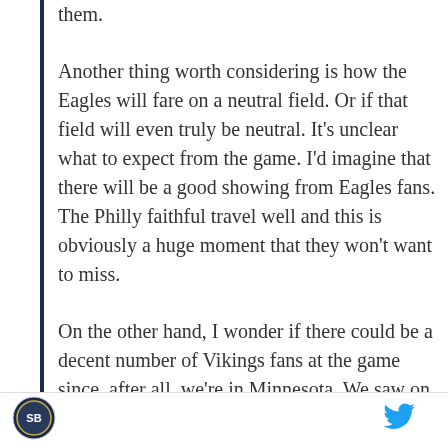them.
Another thing worth considering is how the Eagles will fare on a neutral field. Or if that field will even truly be neutral. It's unclear what to expect from the game. I'd imagine that there will be a good showing from Eagles fans. The Philly faithful travel well and this is obviously a huge moment that they won't want to miss.
On the other hand, I wonder if there could be a decent number of Vikings fans at the game since, after all, we're in Minnesota. We saw on media night how they booed whenever the Eagles were on the stage. It'd be unideal for the Eagles if Patriots fans and Vikings fans were able to team up and make
[Figure (logo): Circular sports logo in footer]